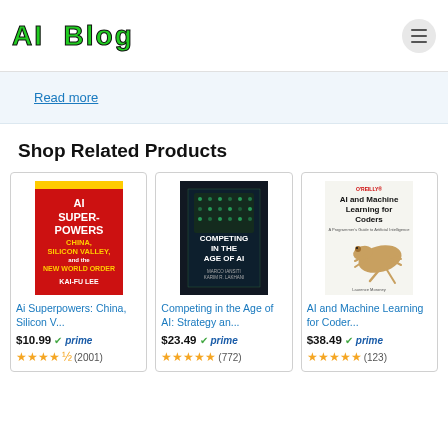AI Blog
Read more
Shop Related Products
[Figure (other): Book cover: AI Superpowers: China, Silicon Valley, and the New World Order by Kai-Fu Lee (red cover)]
Ai Superpowers: China, Silicon V...
$10.99  prime  (2001)
[Figure (other): Book cover: Competing in the Age of AI: Strategy and Leadership When Algorithms and Networks Run the World by Marco Iansiti, Karim R. Lakhani (dark cover)]
Competing in the Age of AI: Strategy an...
$23.49  prime  (772)
[Figure (other): Book cover: AI and Machine Learning for Coders: A Programmer's Guide to Artificial Intelligence (O'Reilly, gecko on cover)]
AI and Machine Learning for Coder...
$38.49  prime  (123)